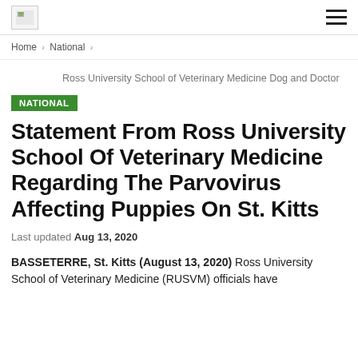[logo] [hamburger menu]
Home > National >
Ross University School of Veterinary Medicine Dog and Doctor
NATIONAL
Statement From Ross University School Of Veterinary Medicine Regarding The Parvovirus Affecting Puppies On St. Kitts
Last updated Aug 13, 2020
BASSETERRE, St. Kitts (August 13, 2020) Ross University School of Veterinary Medicine (RUSVM) officials have